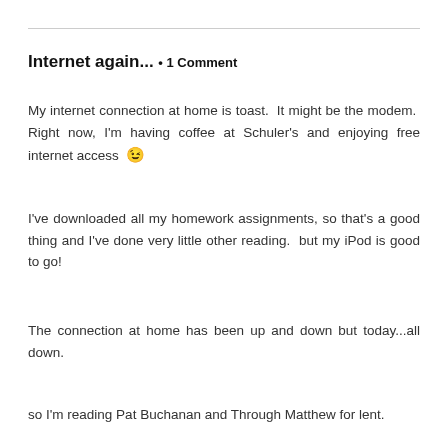Internet again... • 1 Comment
My internet connection at home is toast.  It might be the modem.  Right now, I'm having coffee at Schuler's and enjoying free internet access 😉
I've downloaded all my homework assignments, so that's a good thing and I've done very little other reading.  but my iPod is good to go!
The connection at home has been up and down but today...all down.
so I'm reading Pat Buchanan and Through Matthew for lent.